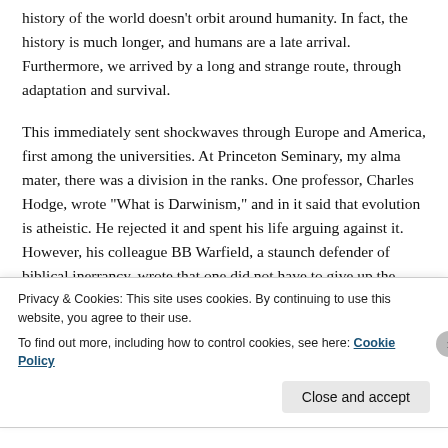history of the world doesn't orbit around humanity. In fact, the history is much longer, and humans are a late arrival. Furthermore, we arrived by a long and strange route, through adaptation and survival.
This immediately sent shockwaves through Europe and America, first among the universities. At Princeton Seminary, my alma mater, there was a division in the ranks. One professor, Charles Hodge, wrote "What is Darwinism," and in it said that evolution is atheistic. He rejected it and spent his life arguing against it. However, his colleague BB Warfield, a staunch defender of biblical inerrancy, wrote that one did not have to give up the Christian faith to believe in Darwinism. He wrote, "I do not
Privacy & Cookies: This site uses cookies. By continuing to use this website, you agree to their use.
To find out more, including how to control cookies, see here: Cookie Policy
Close and accept